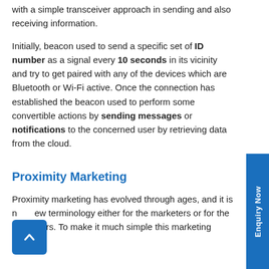with a simple transceiver approach in sending and also receiving information.
Initially, beacon used to send a specific set of ID number as a signal every 10 seconds in its vicinity and try to get paired with any of the devices which are Bluetooth or Wi-Fi active. Once the connection has established the beacon used to perform some convertible actions by sending messages or notifications to the concerned user by retrieving data from the cloud.
Proximity Marketing
Proximity marketing has evolved through ages, and it is not a new terminology either for the marketers or for the customers. To make it much simple this marketing